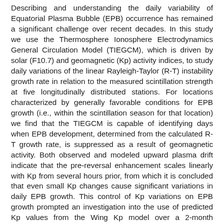Describing and understanding the daily variability of Equatorial Plasma Bubble (EPB) occurrence has remained a significant challenge over recent decades. In this study we use the Thermosphere Ionosphere Electrodynamics General Circulation Model (TIEGCM), which is driven by solar (F10.7) and geomagnetic (Kp) activity indices, to study daily variations of the linear Rayleigh-Taylor (R-T) instability growth rate in relation to the measured scintillation strength at five longitudinally distributed stations. For locations characterized by generally favorable conditions for EPB growth (i.e., within the scintillation season for that location) we find that the TIEGCM is capable of identifying days when EPB development, determined from the calculated R-T growth rate, is suppressed as a result of geomagnetic activity. Both observed and modeled upward plasma drift indicate that the pre-reversal enhancement scales linearly with Kp from several hours prior, from which it is concluded that even small Kp changes cause significant variations in daily EPB growth. This control of Kp variations on EPB growth prompted an investigation into the use of predicted Kp values from the Wing Kp model over a 2-month equinoctial campaign in 2014. It is found that both the 1-hr and 4-hr predicted Kp values can be reliably used as inputs into the TIEGCM to forecast the EPB growth conditions